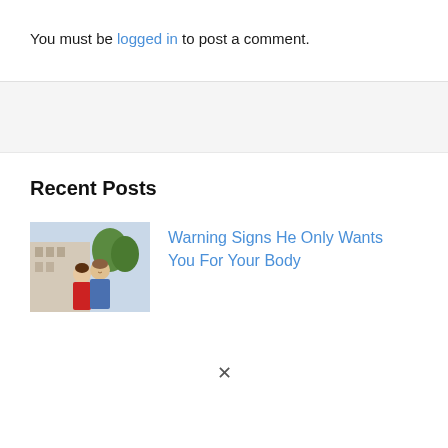You must be logged in to post a comment.
[Figure (photo): Thumbnail image of a couple, a woman in red and a man in a blue denim shirt, smiling outdoors in an urban setting]
Recent Posts
Warning Signs He Only Wants You For Your Body